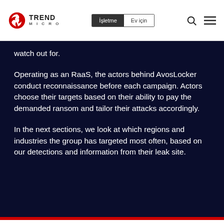Trend Micro — İşletme | Ev için
watch out for.
Operating as an RaaS, the actors behind AvosLocker conduct reconnaissance before each campaign. Actors choose their targets based on their ability to pay the demanded ransom and tailor their attacks accordingly.
In the next sections, we look at which regions and industries the group has targeted most often, based on our detections and information from their leak site.